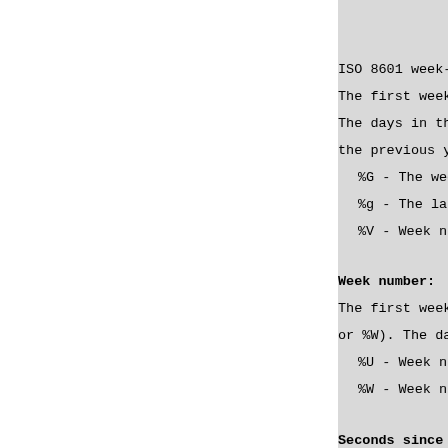ISO 8601 week-based
The first week of Y
The days in the yea
the previous year.
%G - The week-bas
%g - The last 2 d
%V - Week number
Week number:
The first week of Y
or %W). The days in
%U - Week number
%W - Week number
Seconds since the E
%s - Number of se
Literal string: